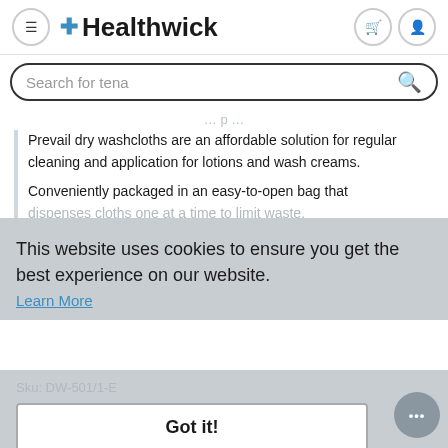Healthwick
Search for tena
Prevail dry washcloths are an affordable solution for regular cleaning and application for lotions and wash creams.
Conveniently packaged in an easy-to-open bag that dispenses cloths one at a time to limit waste.
This website uses cookies to ensure you get the best experience on our website.
Learn More
Got it!
Sku: DW-501/1-E
Option